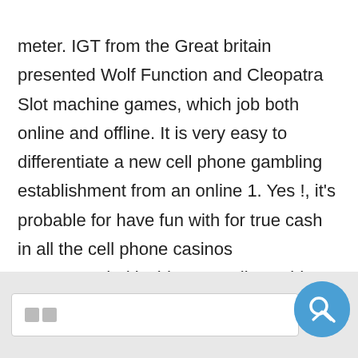meter. IGT from the Great britain presented Wolf Function and Cleopatra Slot machine games, which job both online and offline. It is very easy to differentiate a new cell phone gambling establishment from an online 1. Yes !, it's probable for have fun with for true cash in all the cell phone casinos recommended inside our toplist Inside most instances, it may end up being probable to have fun with either directly through your internet internet browser or even by downloading a good app.
[Figure (screenshot): Search bar UI with small square icons on left and a blue circular search button with magnifier and caret icon on right, on a light grey background.]